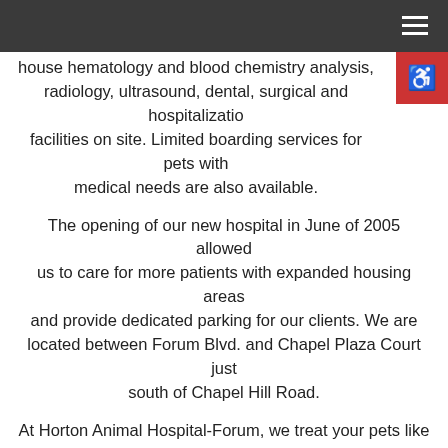house hematology and blood chemistry analysis, radiology, ultrasound, dental, surgical and hospitalization facilities on site. Limited boarding services for pets with medical needs are also available.
The opening of our new hospital in June of 2005 allowed us to care for more patients with expanded housing areas and provide dedicated parking for our clients. We are located between Forum Blvd. and Chapel Plaza Court just south of Chapel Hill Road.
At Horton Animal Hospital-Forum, we treat your pets like the valued family members they are.
Dr. Susan Sczepanski, Dr. Jennifer Reisdorf, Dr. Lindsay Dorr, Dr. Mary March, Dr. Kristina Tan Weitzel & Dr. Beth Luebbering
Columbia Veterinarians | Horton Animal Hospital-Forum | 573-446-3227
2200 Chapel Plaza Court